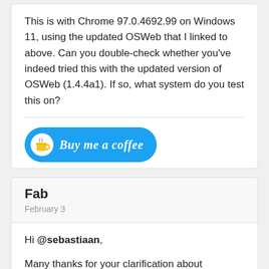This is with Chrome 97.0.4692.99 on Windows 11, using the updated OSWeb that I linked to above. Can you double-check whether you've indeed tried this with the updated version of OSWeb (1.4.4a1). If so, what system do you test this on?
[Figure (other): Buy me a coffee button - blue rounded button with coffee cup emoji icon and italic text 'Buy me a coffee']
Fab
February 3
Hi @sebastiaan,
Many thanks for your clarification about detached elements! I guess I ended up looking at these because I couldn't work out what was going on with my task and why a third of participants reported sound distortion. I still don't know what caused it (that trial didn't...